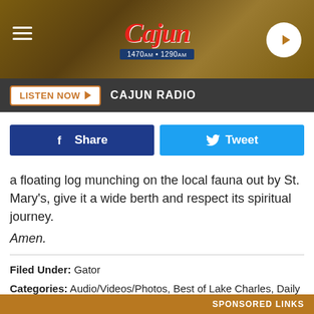[Figure (logo): Cajun Radio logo with 1470am and 1290am frequencies, on a dark golden header bar with hamburger menu and play button]
LISTEN NOW ▶   CAJUN RADIO
a floating log munching on the local fauna out by St. Mary's, give it a wide berth and respect its spiritual journey.
Amen.
Filed Under: Gator
Categories: Audio/Videos/Photos, Best of Lake Charles, Daily Distraction, Goofy Stuff
Comments
SPONSORED LINKS